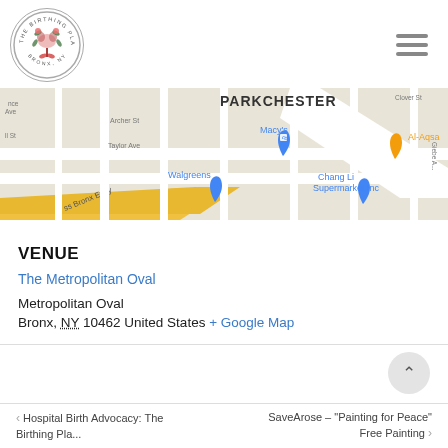[Figure (logo): The Birthing Place Bronx NY circular logo with floral and anatomical illustration]
[Figure (map): Google Maps screenshot showing Parkchester area in the Bronx NY with markers for Macy's, Walgreens, Chang Li Supermarket Inc, Al-Aqsa, and the Cross Bronx Expressway]
VENUE
The Metropolitan Oval
Metropolitan Oval
Bronx, NY 10462 United States + Google Map
< Hospital Birth Advocacy: The Birthing Pla...   SaveArose – "Painting for Peace" Free Painting >